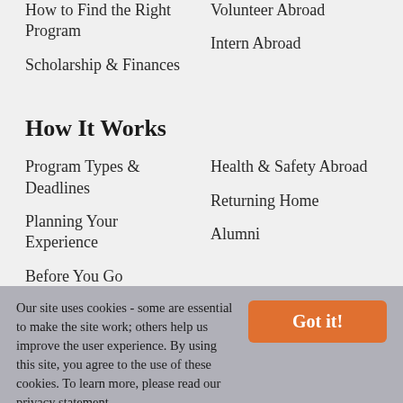How to Find the Right Program
Scholarship & Finances
Volunteer Abroad
Intern Abroad
How It Works
Program Types & Deadlines
Planning Your Experience
Before You Go
While You Are Abroad
Health & Safety Abroad
Returning Home
Alumni
Our site uses cookies - some are essential to make the site work; others help us improve the user experience. By using this site, you agree to the use of these cookies. To learn more, please read our privacy statement